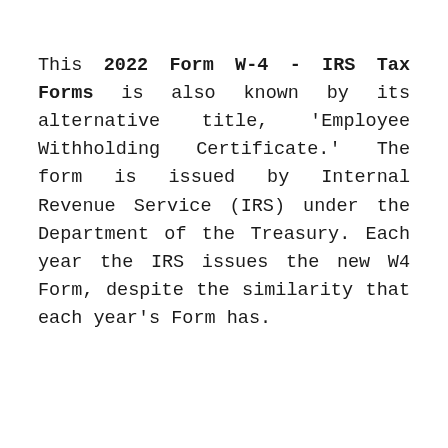This 2022 Form W-4 - IRS Tax Forms is also known by its alternative title, 'Employee Withholding Certificate.' The form is issued by Internal Revenue Service (IRS) under the Department of the Treasury. Each year the IRS issues the new W4 Form, despite the similarity that each year's Form has.